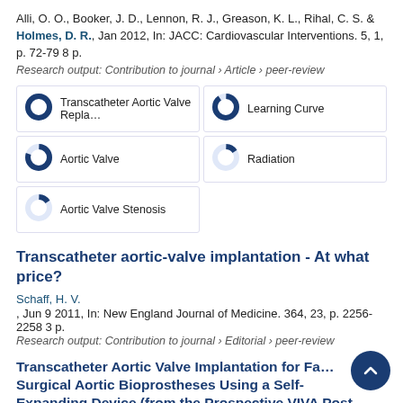Alli, O. O., Booker, J. D., Lennon, R. J., Greason, K. L., Rihal, C. S. & Holmes, D. R., Jan 2012, In: JACC: Cardiovascular Interventions. 5, 1, p. 72-79 8 p.
Research output: Contribution to journal › Article › peer-review
[Figure (infographic): Five keyword badges with donut charts: Transcatheter Aortic Valve Replacement (~100%), Learning Curve (~90%), Aortic Valve (~80%), Radiation (~15%), Aortic Valve Stenosis (~15%)]
Transcatheter aortic-valve implantation - At what price?
Schaff, H. V., Jun 9 2011, In: New England Journal of Medicine. 364, 23, p. 2256-2258 3 p.
Research output: Contribution to journal › Editorial › peer-review
Transcatheter Aortic Valve Implantation for Failed Surgical Aortic Bioprostheses Using a Self-Expanding Device (from the Prospective VIVA Post